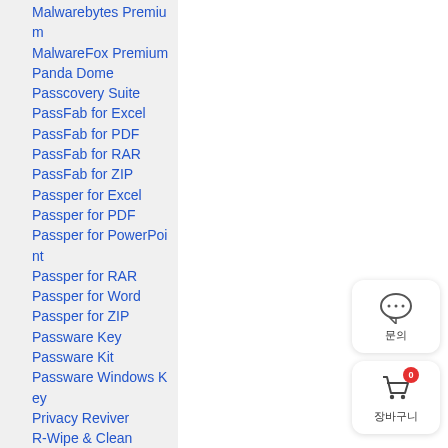Malwarebytes Premium
MalwareFox Premium
Panda Dome
Passcovery Suite
PassFab for Excel
PassFab for PDF
PassFab for RAR
PassFab for ZIP
Passper for Excel
Passper for PDF
Passper for PowerPoint
Passper for RAR
Passper for Word
Passper for ZIP
Passware Key
Passware Kit
Passware Windows Key
Privacy Reviver
R-Wipe & Clean
Renee File Protector
[Figure (other): Chat widget button with speech bubble icon and Korean label]
[Figure (other): Shopping cart widget button with badge showing 0 and Korean label]